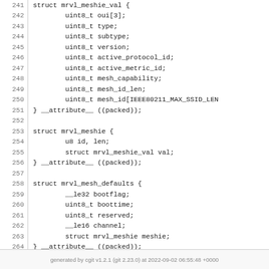241 struct mrvl_meshie_val {
242     uint8_t oui[3];
243     uint8_t type;
244     uint8_t subtype;
245     uint8_t version;
246     uint8_t active_protocol_id;
247     uint8_t active_metric_id;
248     uint8_t mesh_capability;
249     uint8_t mesh_id_len;
250     uint8_t mesh_id[IEEE80211_MAX_SSID_LEN
251 } __attribute__ ((packed));
252 
253 struct mrvl_meshie {
254     u8 id, len;
255     struct mrvl_meshie_val val;
256 } __attribute__ ((packed));
257 
258 struct mrvl_mesh_defaults {
259     __le32 bootflag;
260     uint8_t boottime;
261     uint8_t reserved;
262     __le16 channel;
263     struct mrvl_meshie meshie;
264 } __attribute__ ((packed));
265 
266 #endif
generated by cgit v1.2.1 (git 2.23.0) at 2022-09-02 06:55:48 +0000